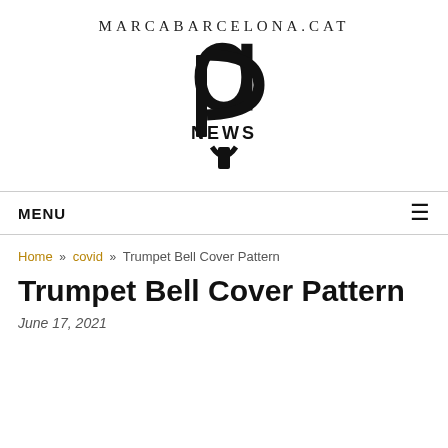MARCABARCELONA.CAT
[Figure (logo): Stylized letter P logo with 'NEWS' text beneath, black on white]
MENU
Home » covid » Trumpet Bell Cover Pattern
Trumpet Bell Cover Pattern
June 17, 2021